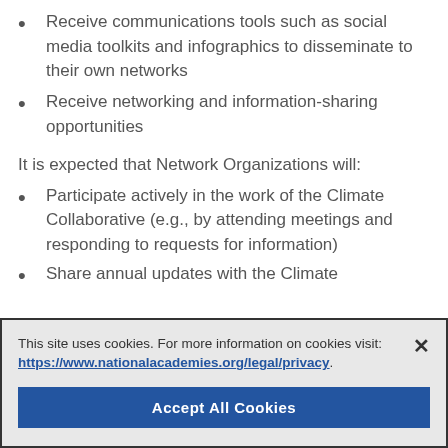Receive communications tools such as social media toolkits and infographics to disseminate to their own networks
Receive networking and information-sharing opportunities
It is expected that Network Organizations will:
Participate actively in the work of the Climate Collaborative (e.g., by attending meetings and responding to requests for information)
Share annual updates with the Climate
This site uses cookies. For more information on cookies visit: https://www.nationalacademies.org/legal/privacy
Accept All Cookies